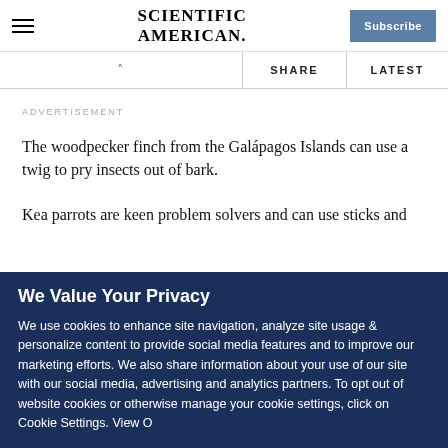SCIENTIFIC AMERICAN
ADVERTISEMENT
The woodpecker finch from the Galápagos Islands can use a twig to pry insects out of bark.
Kea parrots are keen problem solvers and can use sticks and
We Value Your Privacy
We use cookies to enhance site navigation, analyze site usage & personalize content to provide social media features and to improve our marketing efforts. We also share information about your use of our site with our social media, advertising and analytics partners. To opt out of website cookies or otherwise manage your cookie settings, click on Cookie Settings. View O